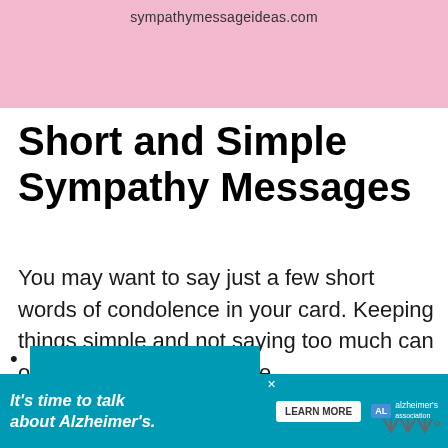sympathymessageideas.com
Short and Simple Sympathy Messages
You may want to say just a few short words of condolence in your card. Keeping things simple and not saying too much can often be more appropriate.
The following examples are suitable for most situations and can be used in a card or in person.
[Figure (infographic): Advertisement banner: 'It's time to talk about Alzheimer's.' with a Learn More button and Alzheimer's Association logo]
Y...